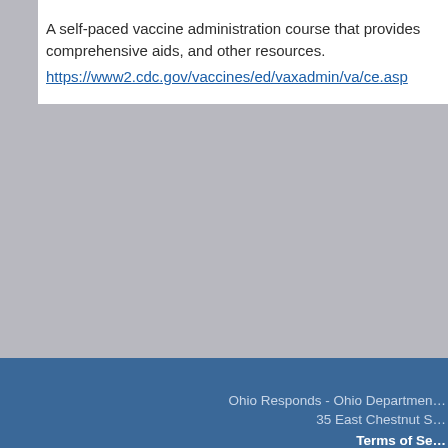A self-paced vaccine administration course that provides comprehensive aids, and other resources.
https://www2.cdc.gov/vaccines/ed/vaxadmin/va/ce.asp
Ohio Responds - Ohio Department
35 East Chestnut S
Terms of Se